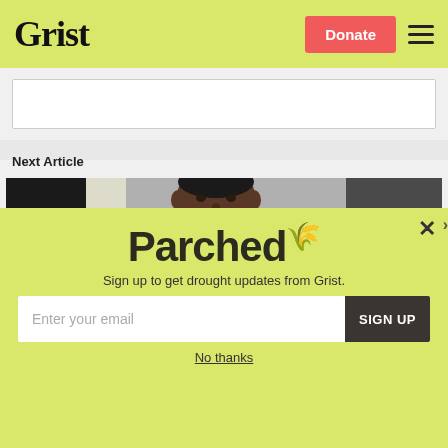Grist
Donate
[Figure (other): Input/search box area]
Next Article
[Figure (photo): Photo of Barack Obama gesturing with his right hand while speaking, shown from the shoulders up, set against a grey background with a dark figure behind him.]
Parched
Sign up to get drought updates from Grist.
Enter your email
SIGN UP
No thanks